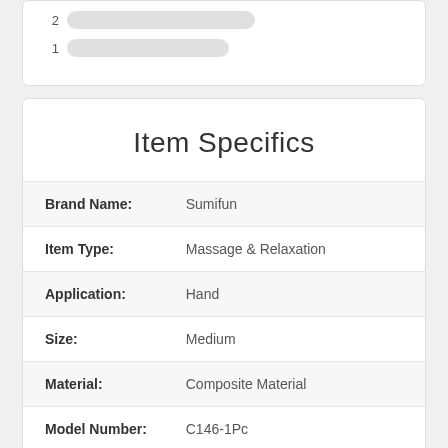[Figure (bar-chart): Partial horizontal bar chart showing bars for values 1 and 2, with light gray rounded bars]
Item Specifics
| Property | Value |
| --- | --- |
| Brand Name: | Sumifun |
| Item Type: | Massage & Relaxation |
| Application: | Hand |
| Size: | Medium |
| Material: | Composite Material |
| Model Number: | C146-1Pc |